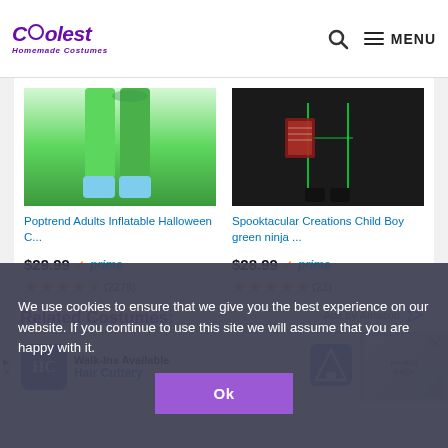Coolest Homemade Costumes — MENU
[Figure (screenshot): Product listing showing two Halloween costumes: 'Poptrend Adults Inflatable Halloween C...' at $29.99 with 4.5 stars (2278 reviews) and 'Spooktacular Creations Child Boy green ninja ...' at $28.99 with 4.5 stars (23 reviews), both with Amazon Prime. Ads by Amazon label at bottom right.]
Related Costumes:
[Figure (screenshot): Partially visible advertisement banner: Walk-Ins Available - Hair Cuttery, with directional road sign icon and photo of hair products.]
We use cookies to ensure that we give you the best experience on our website. If you continue to use this site we will assume that you are happy with it.
Ok